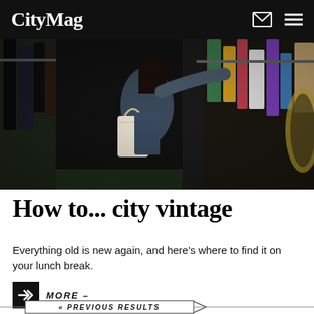CityMag
[Figure (photo): Woman browsing clothing racks in a crowded vintage shop, reaching up to examine garments, with a tote bag over her shoulder]
How to... city vintage
Everything old is new again, and here's where to find it on your lunch break.
MORE –
« PREVIOUS RESULTS